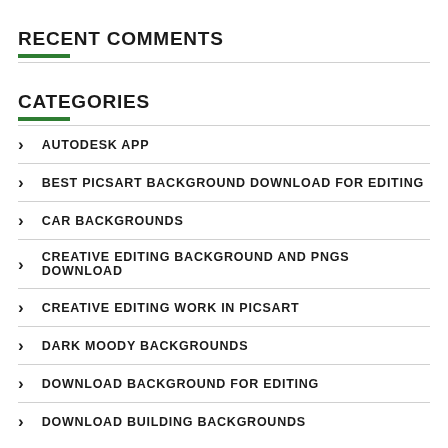RECENT COMMENTS
CATEGORIES
AUTODESK APP
BEST PICSART BACKGROUND DOWNLOAD FOR EDITING
CAR BACKGROUNDS
CREATIVE EDITING BACKGROUND AND PNGS DOWNLOAD
CREATIVE EDITING WORK IN PICSART
DARK MOODY BACKGROUNDS
DOWNLOAD BACKGROUND FOR EDITING
DOWNLOAD BUILDING BACKGROUNDS